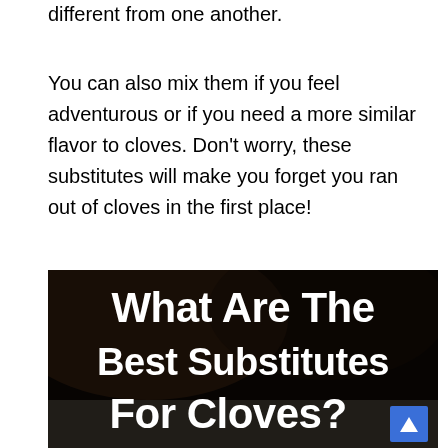different from one another.
You can also mix them if you feel adventurous or if you need a more similar flavor to cloves. Don't worry, these substitutes will make you forget you ran out of cloves in the first place!
[Figure (photo): Dark background image with bold white text overlay reading 'What Are The Best Substitutes For Cloves?' with a blue scroll-to-top button in the lower right corner.]